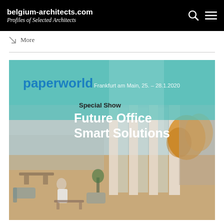belgium-architects.com
Profiles of Selected Architects
↘ More
[Figure (photo): Paperworld advertisement banner: 'paperworld Frankfurt am Main, 25. – 28.1.2020 Special Show Future Office Smart Solutions' with a modern open office interior photo showing large windows, wood floors, lounge seating, and a person sitting in the foreground.]